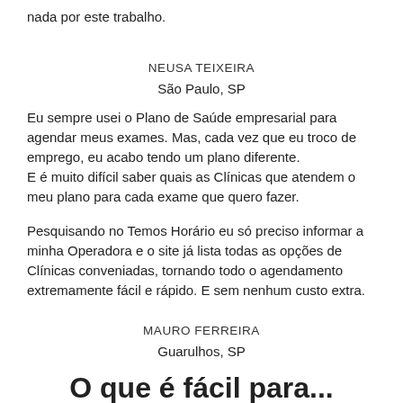nada por este trabalho.
NEUSA TEIXEIRA
São Paulo, SP
Eu sempre usei o Plano de Saúde empresarial para agendar meus exames. Mas, cada vez que eu troco de emprego, eu acabo tendo um plano diferente.
E é muito difícil saber quais as Clínicas que atendem o meu plano para cada exame que quero fazer.
Pesquisando no Temos Horário eu só preciso informar a minha Operadora e o site já lista todas as opções de Clínicas conveniadas, tornando todo o agendamento extremamente fácil e rápido. E sem nenhum custo extra.
MAURO FERREIRA
Guarulhos, SP
O que é fácil para...